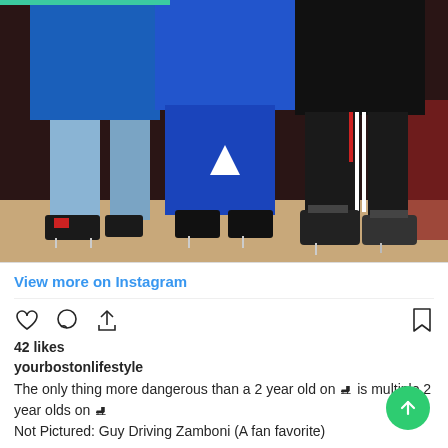[Figure (photo): Three children/people standing with their backs to the camera, wearing winter clothing and ice skates. Left person in blue jacket and jeans, center person in blue jacket and blue hockey pants with white triangle logo, right person in black jacket and black pants with white stripe. All on ice skates standing on wooden floor.]
View more on Instagram
42 likes
yourbostonlifestyle
The only thing more dangerous than a 2 year old on 🏒 is multiple 2 year olds on 🏒
Not Pictured: Guy Driving Zamboni (A fan favorite)